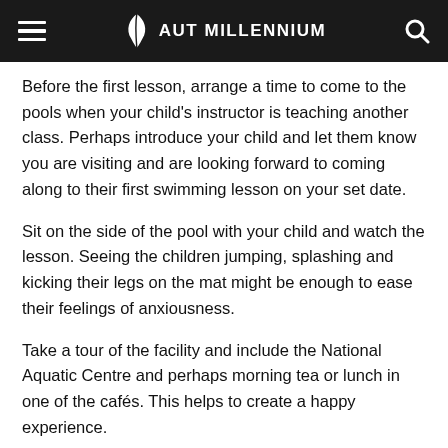AUT MILLENNIUM
Before the first lesson, arrange a time to come to the pools when your child's instructor is teaching another class. Perhaps introduce your child and let them know you are visiting and are looking forward to coming along to their first swimming lesson on your set date.
Sit on the side of the pool with your child and watch the lesson. Seeing the children jumping, splashing and kicking their legs on the mat might be enough to ease their feelings of anxiousness.
Take a tour of the facility and include the National Aquatic Centre and perhaps morning tea or lunch in one of the cafés. This helps to create a happy experience.
On the day of your lesson, prepare by packing the togs and